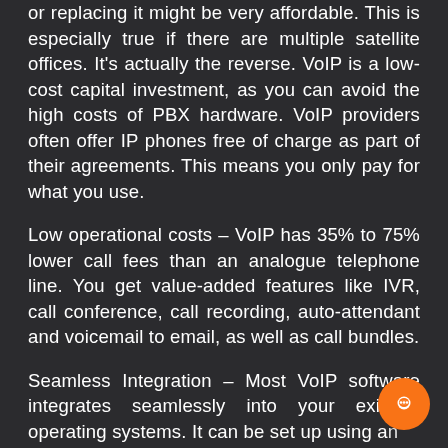or replacing it might be very affordable. This is especially true if there are multiple satellite offices. It's actually the reverse. VoIP is a low-cost capital investment, as you can avoid the high costs of PBX hardware. VoIP providers often offer IP phones free of charge as part of their agreements. This means you only pay for what you use.
Low operational costs – VoIP has 35% to 75% lower call fees than an analogue telephone line. You get value-added features like IVR, call conference, call recording, auto-attendant and voicemail to email, as well as call bundles.
Seamless Integration – Most VoIP software integrates seamlessly into your existing operating systems. It can be set up using a...